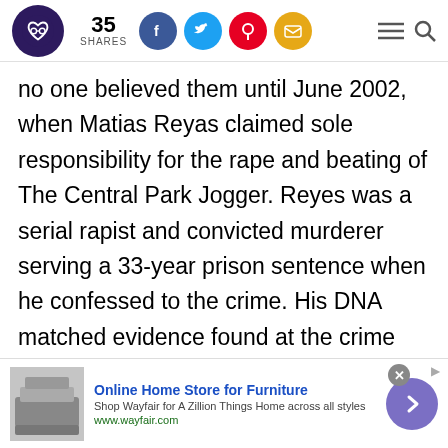35 SHARES [social icons: Facebook, Twitter, Pinterest, Email] [hamburger menu] [search]
no one believed them until June 2002, when Matias Reyas claimed sole responsibility for the rape and beating of The Central Park Jogger. Reyes was a serial rapist and convicted murderer serving a 33-year prison sentence when he confessed to the crime. His DNA matched evidence found at the crime scene. Additionally, he was able to provide specifc details of the assualt that led the police to take his confession seriously. As a result, the
[Figure (screenshot): Advertisement banner for Wayfair Online Home Store for Furniture with product image, text, and navigation arrow]